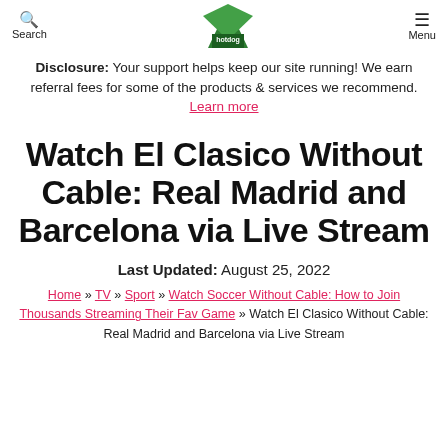Search | [Logo] | Menu
Disclosure: Your support helps keep our site running! We earn referral fees for some of the products & services we recommend. Learn more
Watch El Clasico Without Cable: Real Madrid and Barcelona via Live Stream
Last Updated: August 25, 2022
Home » TV » Sport » Watch Soccer Without Cable: How to Join Thousands Streaming Their Fav Game » Watch El Clasico Without Cable: Real Madrid and Barcelona via Live Stream